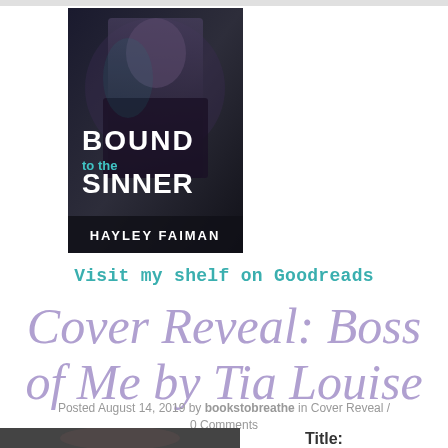[Figure (photo): Book cover: 'Bound to the Sinner' by Hayley Faiman. Dark cover with a brooding man, teal and white title text.]
Visit my shelf on Goodreads
Cover Reveal: Boss of Me by Tia Louise
Posted August 14, 2019 by bookstobreathe in Cover Reveal / 0 Comments
[Figure (photo): Partial photo at bottom left, dark image. Partial text 'Title:' at bottom right.]